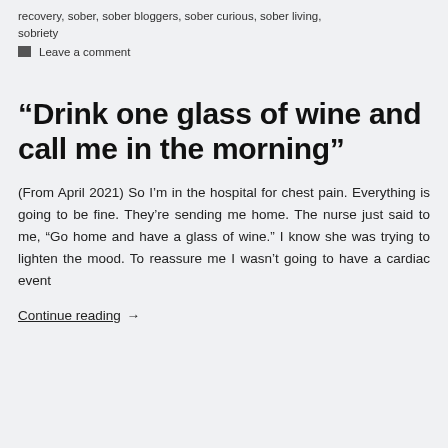recovery, sober, sober bloggers, sober curious, sober living, sobriety
Leave a comment
“Drink one glass of wine and call me in the morning”
(From April 2021) So I’m in the hospital for chest pain. Everything is going to be fine. They’re sending me home. The nurse just said to me, “Go home and have a glass of wine.” I know she was trying to lighten the mood. To reassure me I wasn’t going to have a cardiac event
Continue reading →